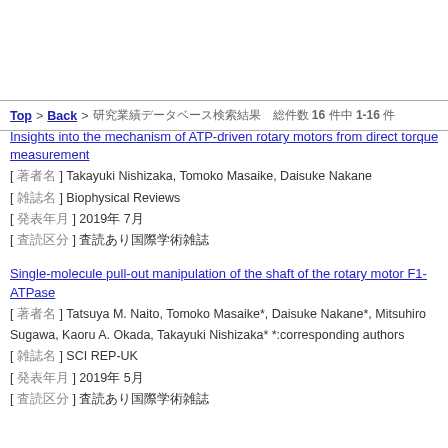Top > Back > 研究業績データベース検索結果 総件数 16 件中 1-16 件
Insights into the mechanism of ATP-driven rotary motors from direct torque measurement
[ 著者名 ] Takayuki Nishizaka, Tomoko Masaike, Daisuke Nakane
[ 雑誌名 ] Biophysical Reviews
[ 発表年月 ] 2019年 7月
[ 査読区分 ] 査読あり国際学術雑誌
Single-molecule pull-out manipulation of the shaft of the rotary motor F1-ATPase
[ 著者名 ] Tatsuya M. Naito, Tomoko Masaike*, Daisuke Nakane*, Mitsuhiro Sugawa, Kaoru A. Okada, Takayuki Nishizaka* *:corresponding authors
[ 雑誌名 ] SCI REP-UK
[ 発表年月 ] 2019年 5月
[ 査読区分 ] 査読あり国際学術雑誌